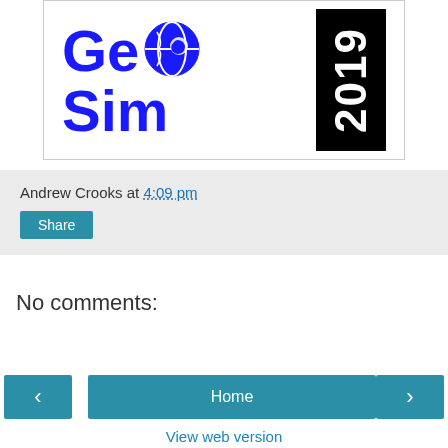[Figure (logo): GeoSim 2019 logo — large blue 'GeoSim' text with a globe icon and a vertical black badge showing '2019']
Andrew Crooks at 4:09 pm
Share
No comments:
Post a Comment
Home
View web version